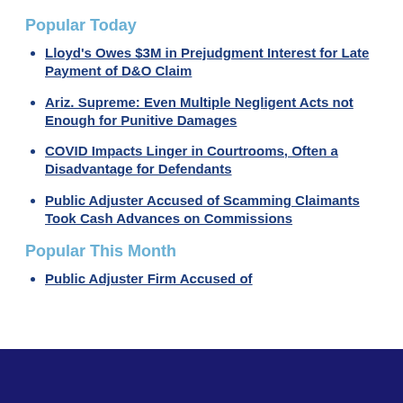Popular Today
Lloyd's Owes $3M in Prejudgment Interest for Late Payment of D&O Claim
Ariz. Supreme: Even Multiple Negligent Acts not Enough for Punitive Damages
COVID Impacts Linger in Courtrooms, Often a Disadvantage for Defendants
Public Adjuster Accused of Scamming Claimants Took Cash Advances on Commissions
Popular This Month
Public Adjuster Firm Accused of